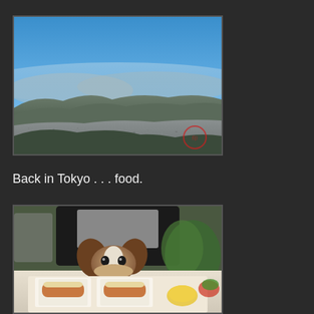[Figure (photo): Aerial panoramic view from a mountain top showing a vast city landscape below, with blue sky above and hazy mountains in the background. A small red watermark/stamp is visible in the lower right corner of the photo.]
Back in Tokyo . . . food.
[Figure (photo): A small brown and white Chihuahua dog resting its chin on a table, looking at food in front of it. A person in a dark jacket and grey shirt is holding the dog from behind. The table has burgers/sandwiches wrapped in paper and a small bowl of yellow sauce, arranged on a tray.]